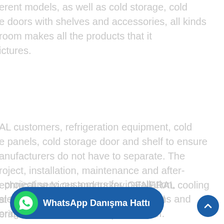erent models, as well as cold storage, cold e doors with shelves and accessories, all kinds room makes all the products that it ictures.
AL customers, refrigeration equipment, cold e panels, cold storage door and shelf to ensure anufacturers do not have to separate. The roject, installation, maintenance and after- echnical services and turkey GENERAL cooling st teams have taken in the authorized erimizle has created four provinces.
. projecting to customers for installation, ales service enterprise with cold rooms and orage are all services under one roof.
[Figure (other): WhatsApp Danışma Hattı button with WhatsApp icon on dark blue rounded pill background]
[Figure (other): Scroll-to-top circular button with upward chevron arrow, dark blue background]